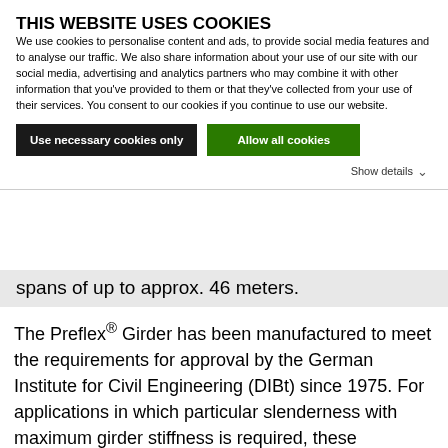THIS WEBSITE USES COOKIES
We use cookies to personalise content and ads, to provide social media features and to analyse our traffic. We also share information about your use of our site with our social media, advertising and analytics partners who may combine it with other information that you've provided to them or that they've collected from your use of their services. You consent to our cookies if you continue to use our website.
Use necessary cookies only | Allow all cookies
Show details ∨
spans of up to approx. 46 meters.
The Preflex® Girder has been manufactured to meet the requirements for approval by the German Institute for Civil Engineering (DIBt) since 1975. For applications in which particular slenderness with maximum girder stiffness is required, these prestressed double composite girders are normally utilized for supported single or multi-span superstructures.